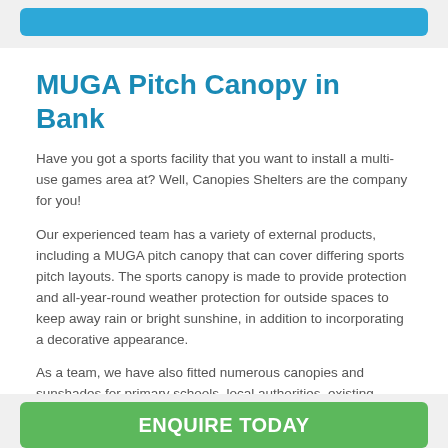[Figure (other): Blue button/banner at top of page]
MUGA Pitch Canopy in Bank
Have you got a sports facility that you want to install a multi-use games area at? Well, Canopies Shelters are the company for you!
Our experienced team has a variety of external products, including a MUGA pitch canopy that can cover differing sports pitch layouts. The sports canopy is made to provide protection and all-year-round weather protection for outside spaces to keep away rain or bright sunshine, in addition to incorporating a decorative appearance.
As a team, we have also fitted numerous canopies and sunshades for primary schools, local authorities, existing playing areas around the United Kingdom. By carrying out an array of installations, our team has loads of practical experience to ensure you get the right products and services to fit your budget.
[Figure (other): Green ENQUIRE TODAY button at bottom of page]